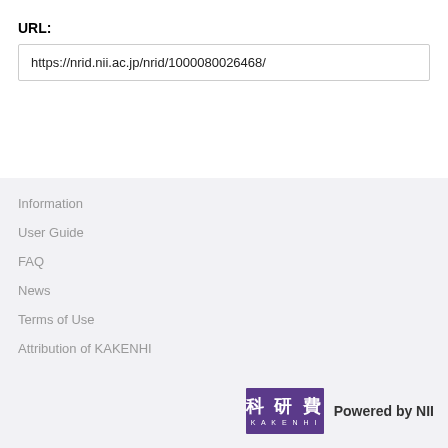URL:
https://nrid.nii.ac.jp/nrid/1000080026468/
Information
User Guide
FAQ
News
Terms of Use
Attribution of KAKENHI
[Figure (logo): KAKENHI logo with Japanese kanji characters 科研費 and text KAKENHI below, purple background, followed by 'Powered by NII' text]